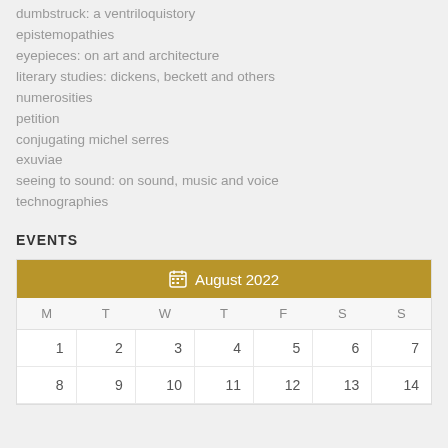dumbstruck: a ventriloquistory
epistemopathies
eyepieces: on art and architecture
literary studies: dickens, beckett and others
numerosities
petition
conjugating michel serres
exuviae
seeing to sound: on sound, music and voice
technographies
EVENTS
| M | T | W | T | F | S | S |
| --- | --- | --- | --- | --- | --- | --- |
| 1 | 2 | 3 | 4 | 5 | 6 | 7 |
| 8 | 9 | 10 | 11 | 12 | 13 | 14 |